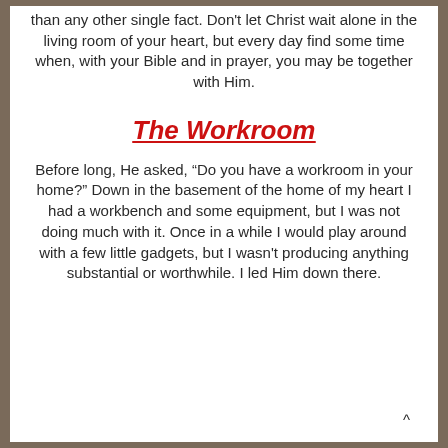than any other single fact. Don't let Christ wait alone in the living room of your heart, but every day find some time when, with your Bible and in prayer, you may be together with Him.
The Workroom
Before long, He asked, “Do you have a workroom in your home?” Down in the basement of the home of my heart I had a workbench and some equipment, but I was not doing much with it. Once in a while I would play around with a few little gadgets, but I wasn't producing anything substantial or worthwhile. I led Him down there.    ^